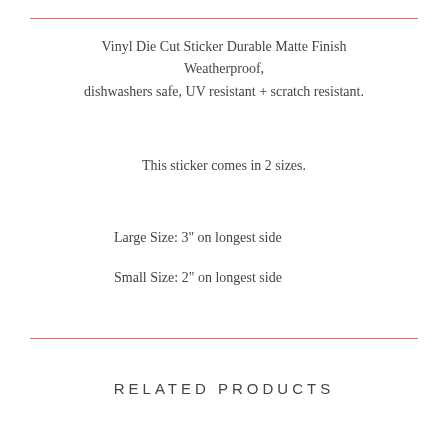Vinyl Die Cut Sticker Durable Matte Finish Weatherproof, dishwashers safe, UV resistant + scratch resistant.
This sticker comes in 2 sizes.
Large Size: 3" on longest side
Small Size: 2" on longest side
RELATED PRODUCTS